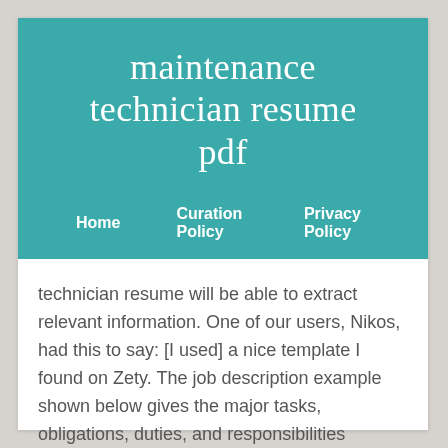maintenance technician resume pdf
Home    Curation Policy    Privacy Policy
technician resume will be able to extract relevant information. One of our users, Nikos, had this to say: [I used] a nice template I found on Zety. The job description example shown below gives the major tasks, obligations, duties, and responsibilities typically assigned to equipment maintenance